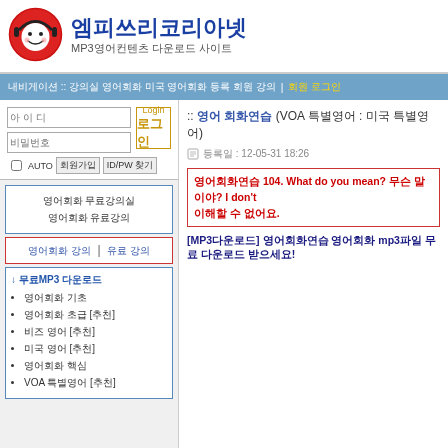[Figure (logo): Red circle with smiley face and headphones logo]
엠피쓰리코리아넷 MP3영어컨텐츠 다운로드 사이트
내비게이션 :: 강의실 영어회화 미국 영어회화 등록 | 회원 로그인
아이디 입력 | 비밀번호 입력 | Login 로그인 | AUTO | 회원가입 | ID/PW 찾기
영어회화 무료강의실
영어회화 유료강의
영어회화 강의 | 유료 강의
↓ 무료MP3 다운로드
영어회화 기초
영어회화 초급 [추천]
비즈 영어 [추천]
미국 영어 [추천]
영어회화 핵심
VOA 특별영어 [추천]
:: 영어 회화연습  (VOA 특별영어 : 미국 특별영어)
등록일 : 12-05-31 18:26
영어회화연습 104. What do you mean? 무슨 말이야? I don't 이해할 수 없어요.
[MP3다운로드] 영어회화연습 영어회화 mp3파일 무료 다운로드 받으세요!